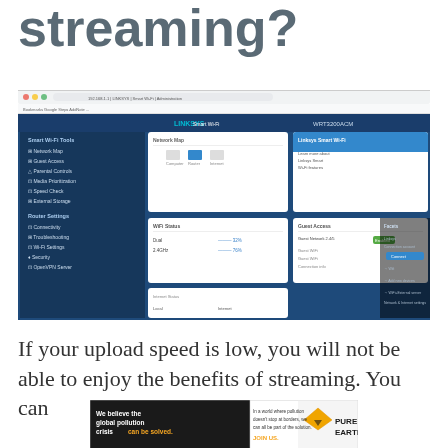streaming?
[Figure (screenshot): Screenshot of a LINKSYS Smart Wi-Fi router admin interface showing browser window with router dashboard, Smart Wi-Fi Tools menu (Network Map, Guest Access, Parental Controls, Media Prioritization, Speed Check, External Storage), Router Settings menu (Connectivity, Troubleshooting, Wi-Fi Settings, Security, OpenVPN Server), and several content panels.]
If your upload speed is low, you will not be able to enjoy the benefits of streaming. You can
[Figure (infographic): Advertisement banner for Pure Earth organization. Left dark section reads: 'We believe the global pollution crisis can be solved.' (with 'can be solved.' in orange). Middle section reads: 'In a world where pollution doesn't stop at borders, we can all be part of the solution. JOIN US.' Right section shows Pure Earth logo (diamond shape with downward arrow) and text 'PURE EARTH'.]